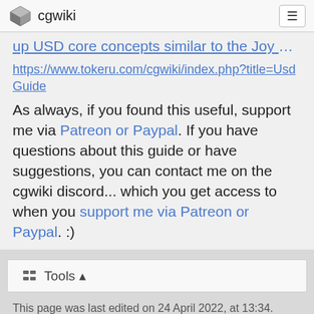cgwiki
up USD core concepts similar to the Joy of Vex guide:
https://www.tokeru.com/cgwiki/index.php?title=UsdGuide
As always, if you found this useful, support me via Patreon or Paypal. If you have questions about this guide or have suggestions, you can contact me on the cgwiki discord... which you get access to when you support me via Patreon or Paypal. :)
🔧 Tools ▲
This page was last edited on 24 April 2022, at 13:34.
Privacy policy  About cgwiki  Disclaimers
[Figure (logo): PayPal donation button and Patreon 'Become a Patron' button]